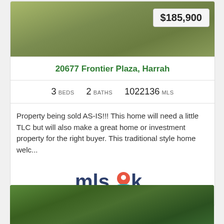[Figure (photo): Exterior photo of property showing grassy/landscaped area with price badge $185,900 in top right corner]
20677 Frontier Plaza, Harrah
3 BEDS   2 BATHS   1022136 MLS
Property being sold AS-IS!!! This home will need a little TLC but will also make a great home or investment property for the right buyer. This traditional style home welc...
[Figure (logo): mlsok logo - dark blue text with red location pin replacing the letter o]
[Figure (photo): Photo of tree canopy with green leaves against sky, viewed from below]